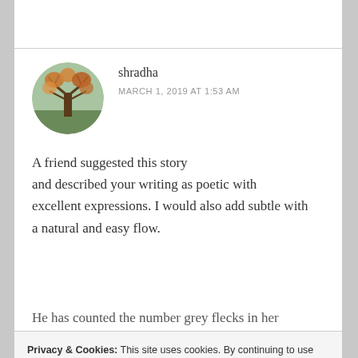[Figure (photo): Circular avatar photo showing a tree with autumn foliage against a park background]
shradha
MARCH 1, 2019 AT 1:53 AM
A friend suggested this story and described your writing as poetic with excellent expressions. I would also add subtle with a natural and easy flow.
He has counted the number grey flecks in her
Privacy & Cookies: This site uses cookies. By continuing to use this website, you agree to their use.
To find out more, including how to control cookies, see here: Cookie Policy
Close and accept
★ Liked by 6 people